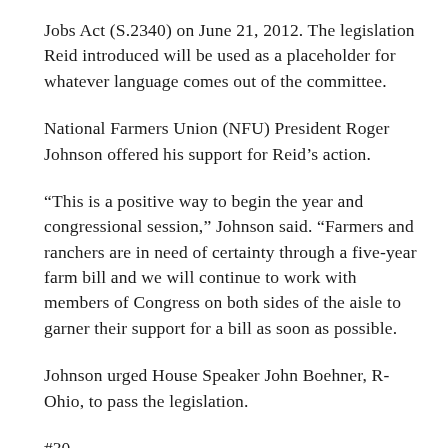Jobs Act (S.2340) on June 21, 2012. The legislation Reid introduced will be used as a placeholder for whatever language comes out of the committee.
National Farmers Union (NFU) President Roger Johnson offered his support for Reid’s action.
“This is a positive way to begin the year and congressional session,” Johnson said. “Farmers and ranchers are in need of certainty through a five-year farm bill and we will continue to work with members of Congress on both sides of the aisle to garner their support for a bill as soon as possible.
Johnson urged House Speaker John Boehner, R-Ohio, to pass the legislation.
#30